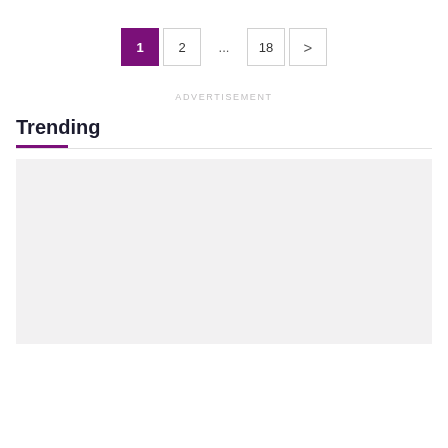1  2  ...  18  >
ADVERTISEMENT
Trending
[Figure (photo): Gray placeholder image box for trending content]